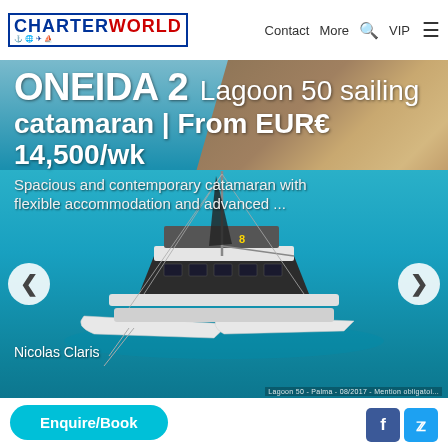CHARTERWORLD | Contact | More | Search | VIP | Menu
[Figure (photo): Hero image of Lagoon 50 sailing catamaran ONEIDA 2 on blue water with rocky cliffs in background. White catamaran with modern design, sails visible.]
ONEIDA 2 Lagoon 50 sailing catamaran | From EUR€ 14,500/wk
Spacious and contemporary catamaran with flexible accommodation and advanced ...
Nicolas Claris
Lagoon 50 - Palma - 08/2017 - Mention obligatoi...
Enquire/Book